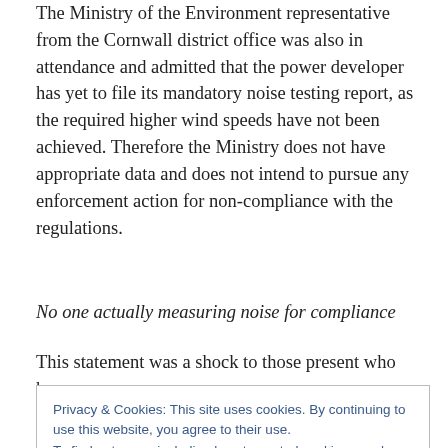The Ministry of the Environment representative from the Cornwall district office was also in attendance and admitted that the power developer has yet to file its mandatory noise testing report, as the required higher wind speeds have not been achieved. Therefore the Ministry does not have appropriate data and does not intend to pursue any enforcement action for non-compliance with the regulations.
No one actually measuring noise for compliance
This statement was a shock to those present who have
Privacy & Cookies: This site uses cookies. By continuing to use this website, you agree to their use.
To find out more, including how to control cookies, see here: Cookie Policy
not available to the public, the MoE representative said